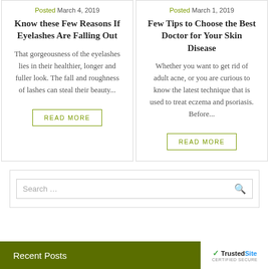Posted March 4, 2019
Know these Few Reasons If Eyelashes Are Falling Out
That gorgeousness of the eyelashes lies in their healthier, longer and fuller look. The fall and roughness of lashes can steal their beauty...
READ MORE
Posted March 1, 2019
Few Tips to Choose the Best Doctor for Your Skin Disease
Whether you want to get rid of adult acne, or you are curious to know the latest technique that is used to treat eczema and psoriasis. Before...
READ MORE
Search ...
Recent Posts